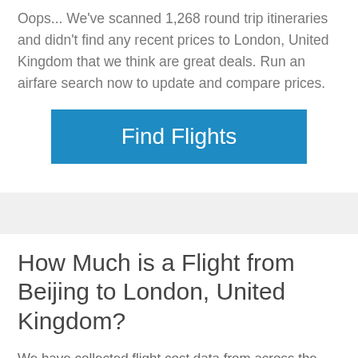Oops... We've scanned 1,268 round trip itineraries and didn't find any recent prices to London, United Kingdom that we think are great deals. Run an airfare search now to update and compare prices.
[Figure (other): Blue 'Find Flights' button]
How Much is a Flight from Beijing to London, United Kingdom?
We have collected flight cost data from across the web